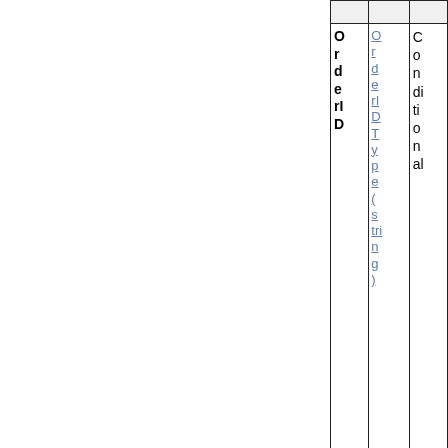| OrderID | OrderDType(string) | Conditional |
| --- | --- | --- |
|  |  |  |